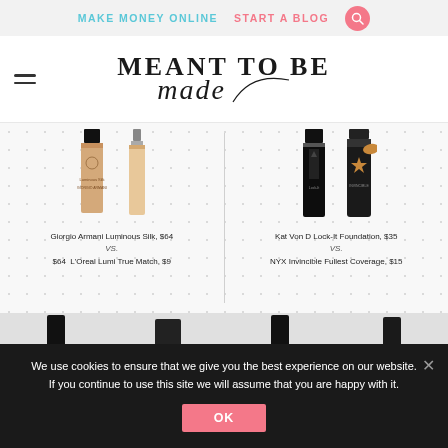MAKE MONEY ONLINE   START A BLOG
MEANT TO BE made
[Figure (photo): Product comparison images: Giorgio Armani Luminous Silk vs L'Oreal Lumi True Match (left), Kat Von D Lock-It Foundation vs NYX Invincible Fullest Coverage (right), and bottom row of products partially visible]
Giorgio Armani Luminous Silk, $64 VS. $64 L'Oreal Lumi True Match, $9
Kat Von D Lock-It Foundation, $35 VS. NYX Invincible Fullest Coverage, $15
We use cookies to ensure that we give you the best experience on our website. If you continue to use this site we will assume that you are happy with it.
OK